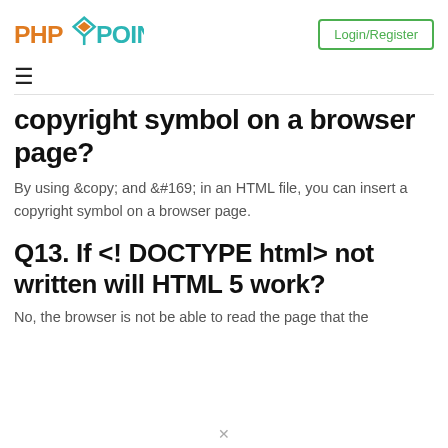PHPCBPOINT  Login/Register
copyright symbol on a browser page?
By using © and © in an HTML file, you can insert a copyright symbol on a browser page.
Q13. If <! DOCTYPE html> not written will HTML 5 work?
No, the browser is not be able to read the page that the browser is written in HTML or HTML 5 that the browser...